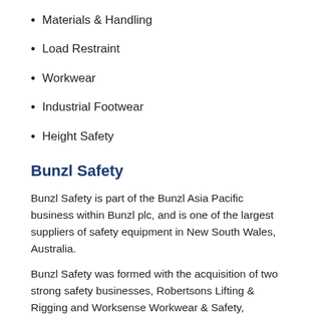Materials & Handling
Load Restraint
Workwear
Industrial Footwear
Height Safety
Bunzl Safety
Bunzl Safety is part of the Bunzl Asia Pacific business within Bunzl plc, and is one of the largest suppliers of safety equipment in New South Wales, Australia.
Bunzl Safety was formed with the acquisition of two strong safety businesses, Robertsons Lifting & Rigging and Worksense Workwear & Safety, acquired by Bunzl in 2012 and 2013 respectively. The merger of both companies provided over 45 years of combined experience and